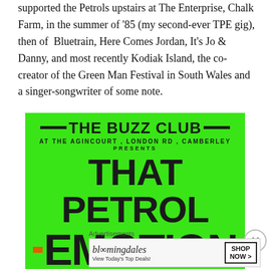supported the Petrols upstairs at The Enterprise, Chalk Farm, in the summer of '85 (my second-ever TPE gig), then of Bluetrain, Here Comes Jordan, It's Jo & Danny, and most recently Kodiak Island, the co-creator of the Green Man Festival in South Wales and a singer-songwriter of some note.
[Figure (other): A bright green concert poster for The Buzz Club at The Agincourt, London Rd, Camberley presenting That Petrol Emotion plus The Mighty (text cut off). Black bold typography on neon green background with orange accent marks.]
Advertisements
[Figure (other): Bloomingdale's advertisement: View Today's Top Deals! with SHOP NOW > button and image of woman in hat.]